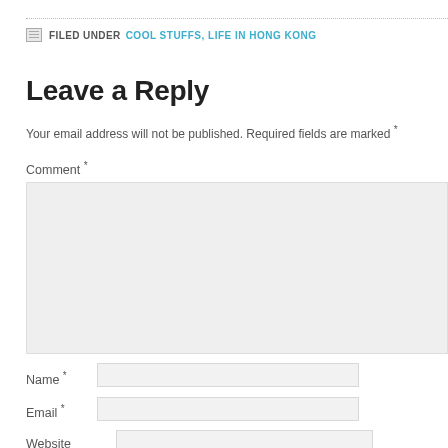FILED UNDER COOL STUFFS, LIFE IN HONG KONG
Leave a Reply
Your email address will not be published. Required fields are marked *
Comment *
Name *
Email *
Website
POST COMMENT